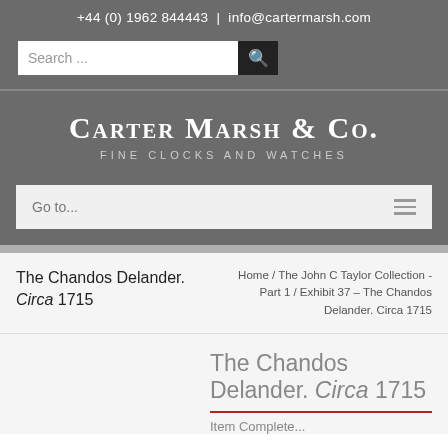+44 (0) 1962 844443  |  info@cartermarsh.com
Carter Marsh & Co.
Fine Clocks and Watches
Go to...
The Chandos Delander. Circa 1715
Home / The John C Taylor Collection - Part 1 / Exhibit 37 – The Chandos Delander. Circa 1715
The Chandos Delander. Circa 1715
Item Complete...